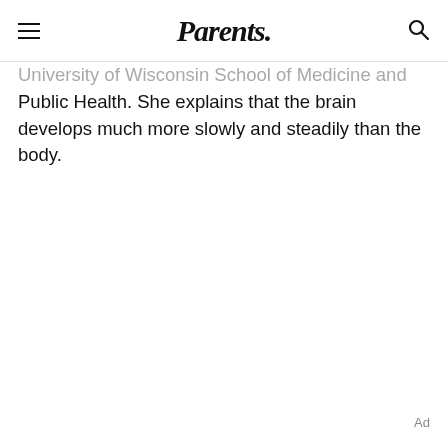Parents.
University of Wisconsin School of Medicine and Public Health. She explains that the brain develops much more slowly and steadily than the body.
Ad